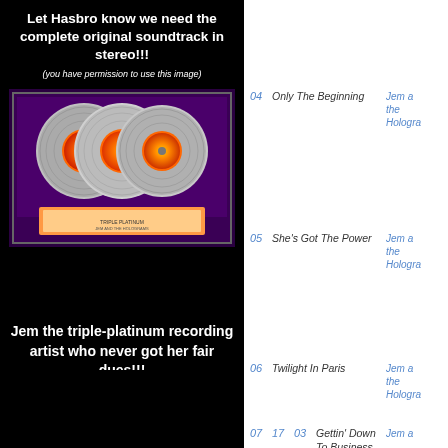Let Hasbro know we need the complete original soundtrack in stereo!!!
(you have permission to use this image)
[Figure (photo): Triple platinum record award display with three silver vinyl records on purple background]
Jem the triple-platinum recording artist who never got her fair dues!!!
| # |  |  | Title | Artist |
| --- | --- | --- | --- | --- |
| 04 |  |  | Only The Beginning | Jem and the Holograms |
| 05 |  |  | She's Got The Power | Jem and the Holograms |
| 06 |  |  | Twilight In Paris | Jem and the Holograms |
| 07 | 17 | 03 | Gettin' Down To Business | Jem and the Holograms |